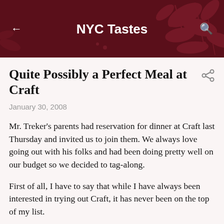NYC Tastes
Quite Possibly a Perfect Meal at Craft
January 30, 2008
Mr. Treker's parents had reservation for dinner at Craft last Thursday and invited us to join them. We always love going out with his folks and had been doing pretty well on our budget so we decided to tag-along.
First of all, I have to say that while I have always been interested in trying out Craft, it has never been on the top of my list.
Why? Well I have heard so many mixed reviews about this place over the years. There are people on the blogs like Chowhound, Yelp etc. that absolutely hate it.